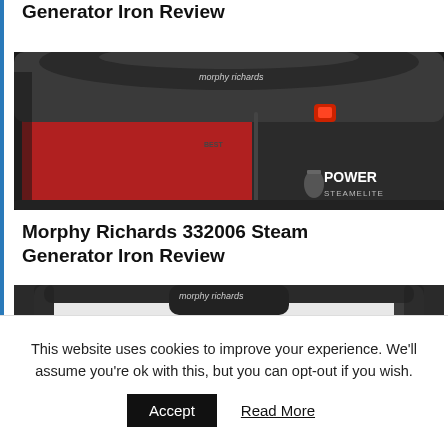Generator Iron Review
[Figure (photo): Close-up photo of a Morphy Richards Power Steam Elite steam generator iron, black and red body, with 'morphy richards' branding visible on top.]
Morphy Richards 332006 Steam Generator Iron Review
[Figure (photo): Close-up photo of a Morphy Richards steam generator iron, black and white body, with 'morphy richards' branding visible on top.]
This website uses cookies to improve your experience. We'll assume you're ok with this, but you can opt-out if you wish.